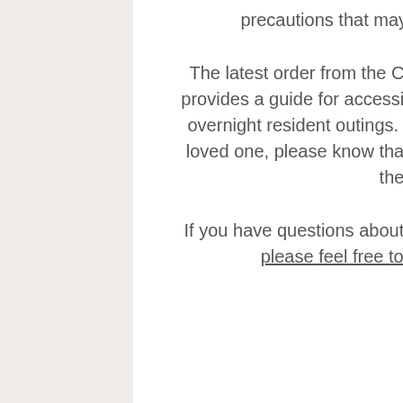precautions that may be put in place upon their return.
The latest order from the Clinical Medical Officer of Health (CMOH) provides a guide for accessing the risk of exposure for same-day and overnight resident outings. If you have arranged an outing with your loved one, please know that these will be used to guide decisions at the site collectively.
If you have questions about these safety precautions outlined below, please feel free to discuss directly with your Care